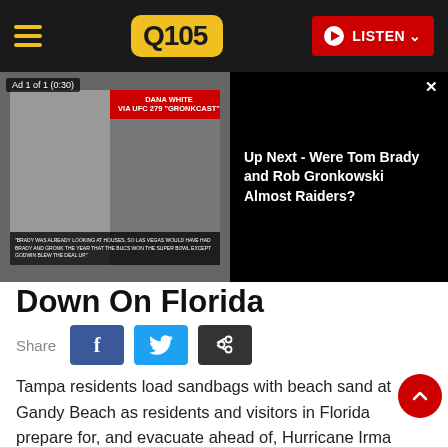Q105 — LISTEN
[Figure (screenshot): Video ad player showing Dana White via UFC 279 GronkCast, with 'Up Next - Were Tom Brady and Rob Gronkowski Almost Raiders?' text on black panel. Ad label reads 'Ad 1 of 1 (0:30)'.]
Down On Florida
Share
Tampa residents load sandbags with beach sand at Gandy Beach as residents and visitors in Florida prepare for, and evacuate ahead of, Hurricane Irma on September 09, 2017.